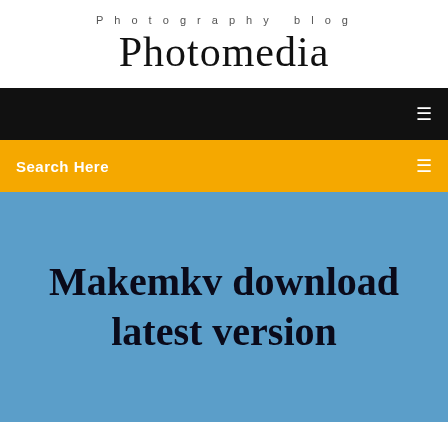Photography blog
Photomedia
[Figure (screenshot): Black navigation bar with a white menu icon on the right]
Search Here
Makemkv download latest version